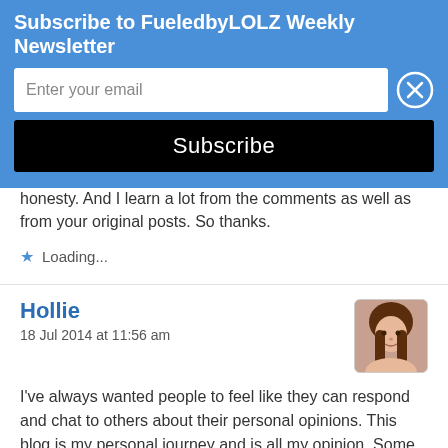Subscribe to FueledbyLOLZ Weekly Newsletter
Enter your email
Subscribe
honesty. And I learn a lot from the comments as well as from your original posts. So thanks.
Loading...
Hollie
18 Jul 2014 at 11:56 am
I've always wanted people to feel like they can respond and chat to others about their personal opinions. This blog is my personal journey and is all my opinion. Some posts are just me thinking aloud with no real point. Those types of posts I always hope someone has thought the same thing and can relate.